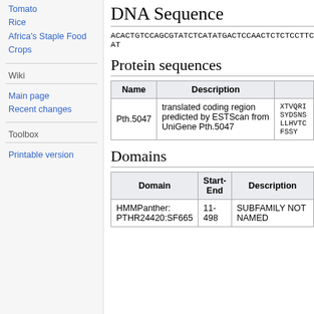Tomato
Rice
Africa's Staple Food Crops
Wiki
Main page
Recent changes
Toolbox
Printable version
DNA Sequence
ACACTGTCCAGCGTATCTCATATGACTCCAACTCTCTCCTTCAT
Protein sequences
| Name | Description |  |
| --- | --- | --- |
| Pth.5047 | translated coding region predicted by ESTScan from UniGene Pth.5047 | XTVQRISYDSNSLLHVTCFSSY |
Domains
| Domain | Start-End | Description |
| --- | --- | --- |
| HMMPanther: PTHR24420:SF665 | 11-498 | SUBFAMILY NOT NAMED |